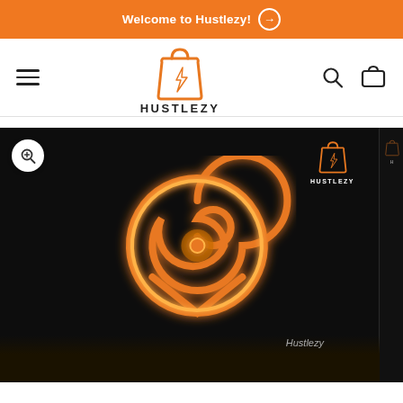Welcome to Hustlezy! →
[Figure (logo): Hustlezy shopping bag logo with text HUSTLEZY below]
[Figure (photo): Naruto Konoha neon sign glowing orange on a dark background, with Hustlezy watermark logo in top right and Hustlezy text watermark in center-right of image]